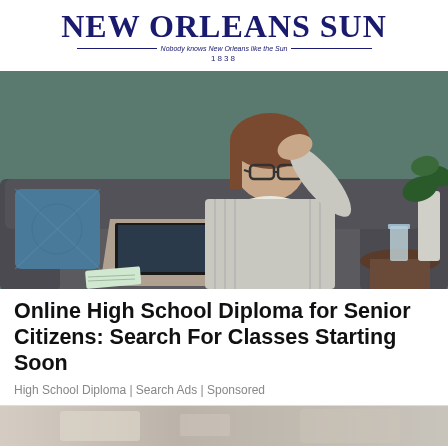NEW ORLEANS SUN — Nobody knows New Orleans like the Sun — 1838
[Figure (photo): Middle-aged or older woman with glasses sitting on a couch with a laptop, looking stressed, hand on head, with a plant and glass of water on a side table in background, against a teal/green wall]
Online High School Diploma for Senior Citizens: Search For Classes Starting Soon
High School Diploma | Search Ads | Sponsored
[Figure (photo): Partial view of another image at the bottom of the page, appears to be an interior scene]